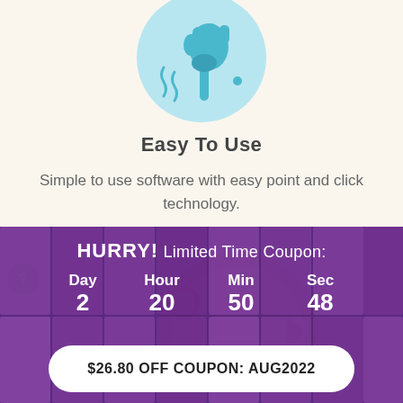[Figure (illustration): Blue circle with a hand holding a wrench icon, on cream/off-white background]
Easy To Use
Simple to use software with easy point and click technology.
[Figure (illustration): Orange circle with a clock/timer icon partially visible]
[Figure (infographic): Purple banner with faces in background showing countdown timer: Day 2, Hour 20, Min 50, Sec 48, with HURRY! Limited Time Coupon text]
$26.80 OFF COUPON: AUG2022